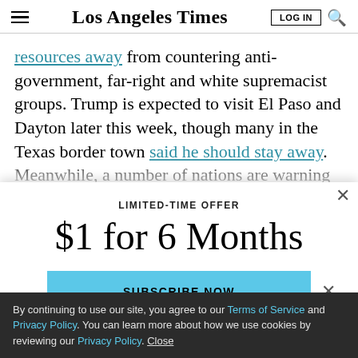Los Angeles Times
resources away from countering anti-government, far-right and white supremacist groups. Trump is expected to visit El Paso and Dayton later this week, though many in the Texas border town said he should stay away. Meanwhile, a number of nations are warning their
LIMITED-TIME OFFER
$1 for 6 Months
SUBSCRIBE NOW
By continuing to use our site, you agree to our Terms of Service and Privacy Policy. You can learn more about how we use cookies by reviewing our Privacy Policy. Close